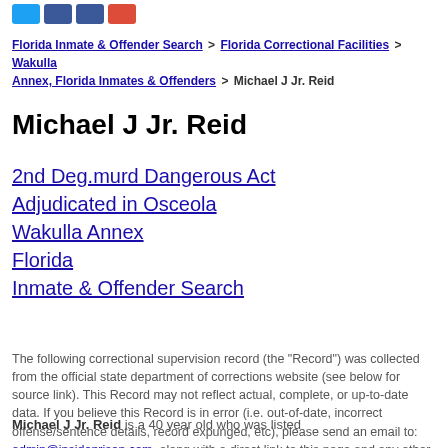[Figure (other): Social media share buttons: Twitter (blue), two Facebook (dark blue), Google+ (red)]
Florida Inmate & Offender Search > Florida Correctional Facilities > Wakulla Annex, Florida Inmates & Offenders > Michael J Jr. Reid
Michael J Jr. Reid
2nd Deg.murd Dangerous Act
Adjudicated in Osceola
Wakulla Annex
Florida
Inmate & Offender Search
The following correctional supervision record (the "Record") was collected from the official state department of corrections website (see below for source link). This Record may not reflect actual, complete, or up-to-date data. If you believe this Record is in error (i.e. out-of-date, incorrect offense/sentence details, record expunged, etc), please send an email to: admin@insideprison.com, along with a direct link to this page and any other details available. Once verified, the record will be modified or removed, free of charge. Insideprison.com does not provide consumer reports, and, as such, strictly prohibits any use of this Record to make decisions about someone's credit, employment, tenancy or any other purposes that would require FCRA compliance.
Michael J Jr. Reid is a 40 year old who was listed